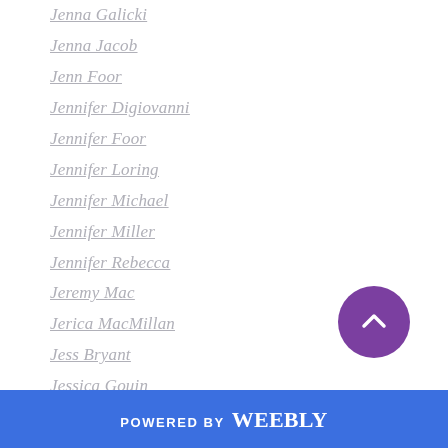Jenna Galicki
Jenna Jacob
Jenn Foor
Jennifer Digiovanni
Jennifer Foor
Jennifer Loring
Jennifer Michael
Jennifer Miller
Jennifer Rebecca
Jeremy Mac
Jerica MacMillan
Jess Bryant
Jessica Gouin
Jessica Hawkins
Jessica Hildreth
Jessica Ingro
Jessica Jayne
[Figure (other): Purple circular scroll-to-top button with upward chevron arrow]
POWERED BY weebly